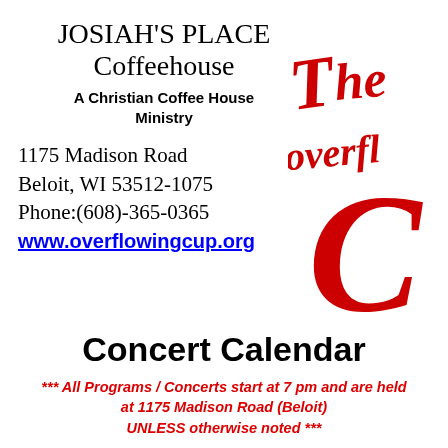JOSIAH'S PLACE Coffeehouse
A Christian Coffee House Ministry
1175 Madison Road
Beloit, WI 53512-1075
Phone:(608)-365-0365
www.overflowingcup.org
[Figure (logo): Red cursive logo showing 'The Overflowing Cup' text partially visible on the right side]
Concert Calendar
*** All Programs / Concerts start at 7 pm and are held at 1175 Madison Road (Beloit) UNLESS otherwise noted ***
------ March 2015 ------
{click date above to display printable monthly calendar}